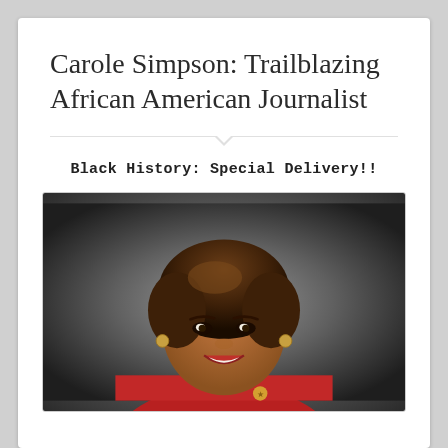Carole Simpson: Trailblazing African American Journalist
Black History: Special Delivery!!
[Figure (photo): Portrait photo of Carole Simpson, a smiling African American woman with short brown hair, wearing a red outfit with a brooch, photographed against a dark studio background.]